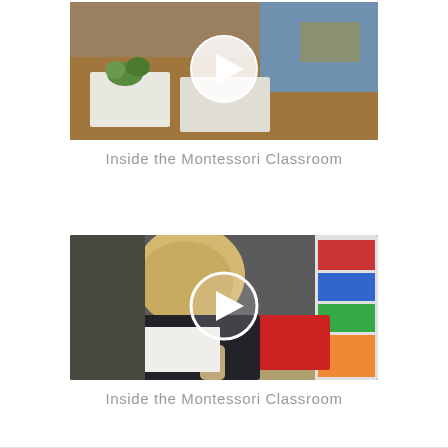[Figure (photo): Video thumbnail showing a student working at a desk with papers and a green plant toy/model, with a white circular play button overlay in the center.]
Inside the Montessori Classroom
[Figure (photo): Video thumbnail showing a student with blonde hair bent over a desk working, with colorful shelving visible in the background, and a white circular play button overlay in the center.]
Inside the Montessori Classroom